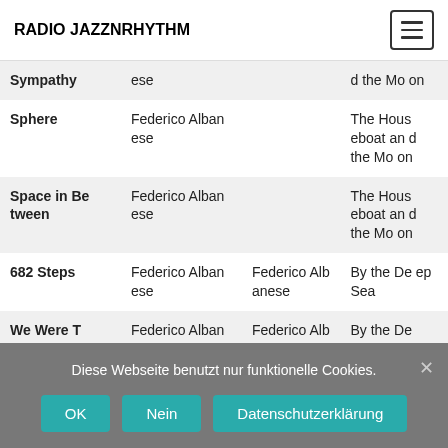RADIO JAZZNRHYTHM
| Sympathy | ese |  | d the Moon |
| Sphere | Federico Albanese |  | The Houseboat and the Moon |
| Space in Between | Federico Albanese |  | The Houseboat and the Moon |
| 682 Steps | Federico Albanese | Federico Albanese | By the Deep Sea |
| We Were T | Federico Alban | Federico Alb | By the De |
Diese Webseite benutzt nur funktionelle Cookies.